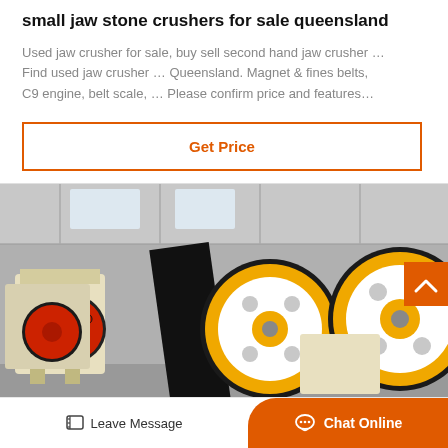small jaw stone crushers for sale queensland
Used jaw crusher for sale, buy sell second hand jaw crusher … Find used jaw crusher … Queensland. Magnet & fines belts, C9 engine, belt scale, … Please confirm price and features…
Get Price
[Figure (photo): Industrial machinery photo showing jaw stone crushers in a factory/warehouse setting. Left side shows a beige/cream jaw crusher with red flywheel. Right side shows large black conveyor belt with yellow and white flywheels.]
Leave Message
Chat Online